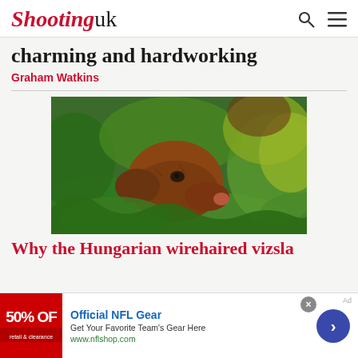Shooting uk
charming and hardworking
Graham Watkins
[Figure (photo): A brown wirehaired dog sniffing among green leafy plants outdoors]
Why the Hungarian wirehaired vizsla
[Figure (infographic): Advertisement banner: Official NFL Gear - Get Your Favorite Team's Gear Here - www.nflshop.com - with 50% OFF red image and blue arrow button]